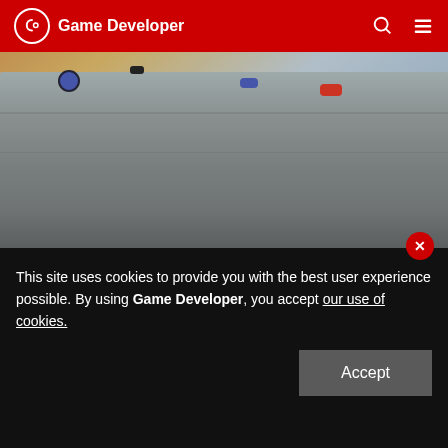Game Developer
[Figure (screenshot): Screenshot of iShoot game showing Mount Rushmore with cartoon tank turrets placed on top of the presidents' heads. A HUD bar at the bottom shows '53 ANGLE', a MENU button, and '< Mini Cluster Bomb x 0 >']
Ethan Nicholas' iShoot
This site uses cookies to provide you with the best user experience possible. By using Game Developer, you accept our use of cookies.